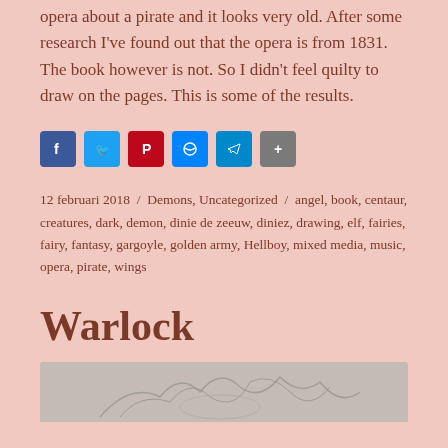opera about a pirate and it looks very old. After some research I've found out that the opera is from 1831. The book however is not. So I didn't feel quilty to draw on the pages. This is some of the results.
[Figure (infographic): Social sharing buttons: Facebook, Twitter, Pinterest, Messenger, Telegram, Share]
12 februari 2018 / Demons, Uncategorized / angel, book, centaur, creatures, dark, demon, dinie de zeeuw, diniez, drawing, elf, fairies, fairy, fantasy, gargoyle, golden army, Hellboy, mixed media, music, opera, pirate, wings
Warlock
[Figure (illustration): Sketch/drawing illustration at the bottom of the page showing creatures or figures in pencil/charcoal style]